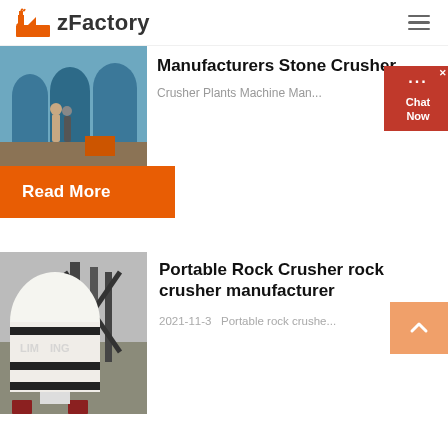zFactory
[Figure (photo): Two people standing in an industrial factory with large blue cylindrical machines]
Manufacturers Stone Crusher ...
Crusher Plants Machine Man...
Read More
[Figure (photo): White industrial rock crusher machine with LIMING branding in a factory setting]
Portable Rock Crusher rock crusher manufacturer
2021-11-3   Portable rock crushe...